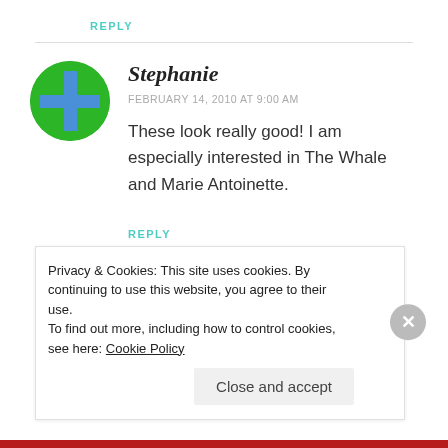REPLY
[Figure (illustration): Green circle avatar with a blue cross/plus icon in the center]
Stephanie
FEBRUARY 14, 2010 AT 9:00 AM
These look really good! I am especially interested in The Whale and Marie Antoinette.
REPLY
Privacy & Cookies: This site uses cookies. By continuing to use this website, you agree to their use. To find out more, including how to control cookies, see here: Cookie Policy
Close and accept